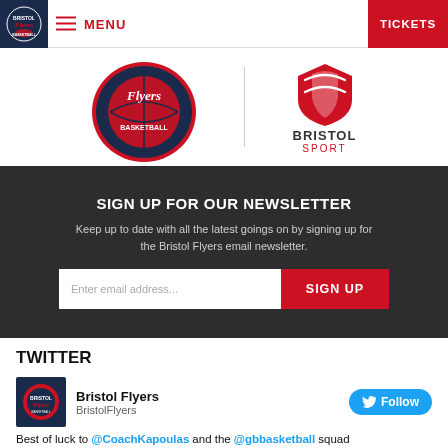MENU | TICKETS
[Figure (logo): Bristol Flyers Basketball logo and Bristol Sport logo side by side]
SIGN UP FOR OUR NEWSLETTER
Keep up to date with all the latest goings on by signing up for the Bristol Flyers email newsletter.
Enter email address... SIGN UP
TWITTER
Bristol Flyers
BristolFlyers
Best of luck to @CoachKapoulas and the @gbbasketball squad